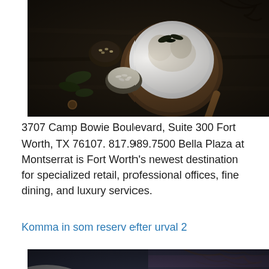[Figure (photo): Overhead dark moody food photography showing a white plate with ice cream/dessert topped with leaves, surrounded by small bowls with nuts and herbs on a dark wooden surface]
3707 Camp Bowie Boulevard, Suite 300 Fort Worth, TX 76107. 817.989.7500 Bella Plaza at Montserrat is Fort Worth's newest destination for specialized retail, professional offices, fine dining, and luxury services.
Komma in som reserv efter urval 2
[Figure (photo): Dark moody food photography showing fabric/linen cloth with what appears to be a round food item and dark branches on a blue-dark background]